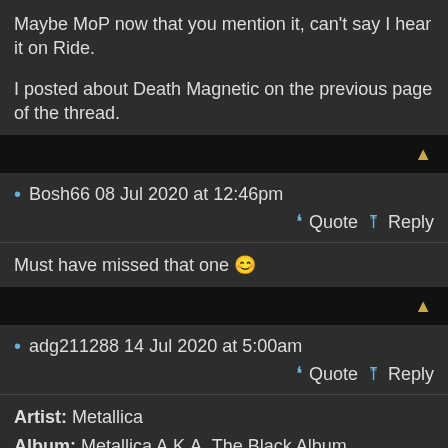Maybe MoP now that you mention it, can't say I hear it on Ride.

I posted about Death Magnetic on the previous page of the thread.
Bosh66 08 Jul 2020 at 12:46pm
Quote  Reply
Must have missed that one 😊
adg211288 14 Jul 2020 at 5:00am
Quote  Reply
Artist: Metallica
Album: Metallica A.K.A. The Black Album
Previous Lost fm Scrobbles: 69 (13 Tracks)